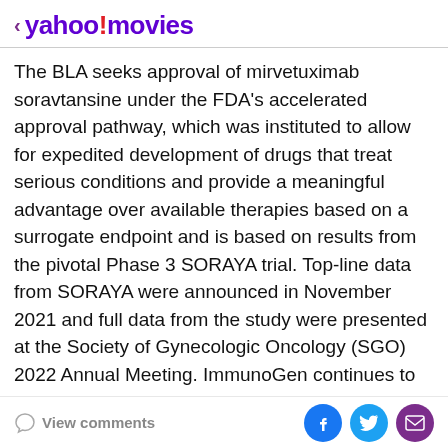< yahoo!movies
The BLA seeks approval of mirvetuximab soravtansine under the FDA's accelerated approval pathway, which was instituted to allow for expedited development of drugs that treat serious conditions and provide a meaningful advantage over available therapies based on a surrogate endpoint and is based on results from the pivotal Phase 3 SORAYA trial. Top-line data from SORAYA were announced in November 2021 and full data from the study were presented at the Society of Gynecologic Oncology (SGO) 2022 Annual Meeting. ImmunoGen continues to enroll patients in the confirmatory MIRASOL trial, which is intended to convert the potential accelerated approval to full
View comments